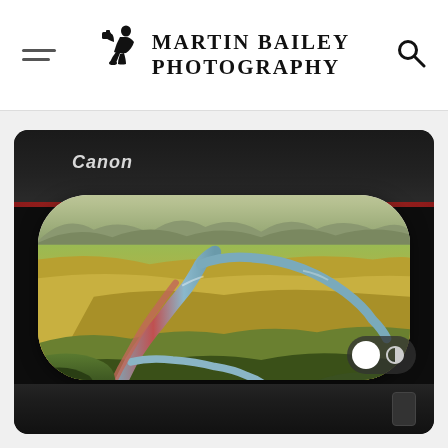Martin Bailey Photography
[Figure (photo): A Canon large-format printer printing a roll of paper with a vibrant landscape photograph showing an Icelandic river valley with winding blue-red streams through golden-green moss and terrain, mountains in background. The printer is dark/black with the Canon logo visible. A light/dark mode toggle is visible in the bottom-right corner of the image.]